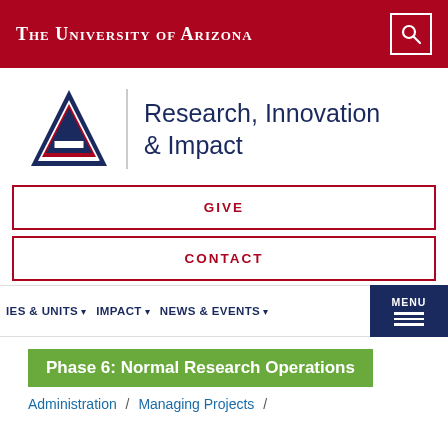The University of Arizona
[Figure (logo): University of Arizona block A logo with Research, Innovation & Impact text]
GIVE
CONTACT
IES & UNITS  IMPACT  NEWS & EVENTS  MENU
Phase 6: Normal Research Operations
Administration / Managing Projects /